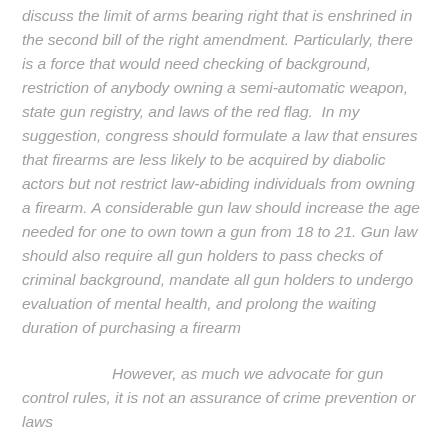discuss the limit of arms bearing right that is enshrined in the second bill of the right amendment. Particularly, there is a force that would need checking of background, restriction of anybody owning a semi-automatic weapon, state gun registry, and laws of the red flag.  In my suggestion, congress should formulate a law that ensures that firearms are less likely to be acquired by diabolic actors but not restrict law-abiding individuals from owning a firearm. A considerable gun law should increase the age needed for one to own town a gun from 18 to 21. Gun law should also require all gun holders to pass checks of criminal background, mandate all gun holders to undergo evaluation of mental health, and prolong the waiting duration of purchasing a firearm
However, as much we advocate for gun control rules, it is not an assurance of crime prevention or laws